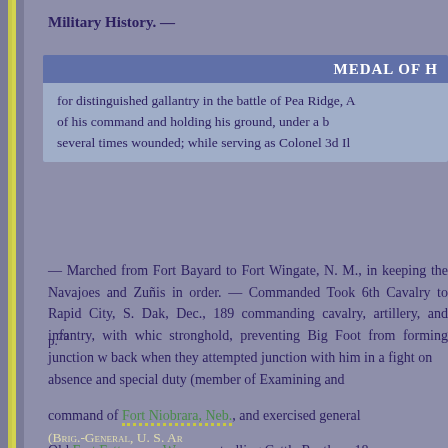Military History. —
MEDAL OF H[ONOR]
for distinguished gallantry in the battle of Pea Ridge, A[rk.,] of his command and holding his ground, under a b[rilliant] several times wounded; while serving as Colonel 3d Il[linois]
— Marched from Fort Bayard to Fort Wingate, N. M., in [charge of] keeping the Navajoes and Zuñis in order. — Commanded [the district.] Took 6th Cavalry to Rapid City, S. Dak, Dec., 189[0,] commanding cavalry, artillery, and infantry, with whic[h he held a] stronghold, preventing Big Foot from forming junction w[ith Sioux and] back when they attempted junction with him in a fight on[...] absence and special duty (member of Examining and [...] command of Fort Niobrara, Neb., and exercised general [...] Old Fort Fetterman, Wyo., controlling Cattle Rustlers, 18[...]
p. 79
(Brig.-General, U. S. Ar[my])